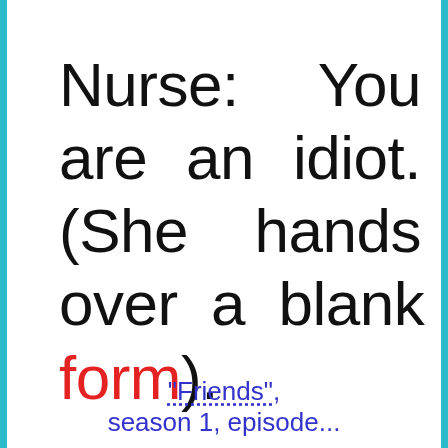Nurse: You are an idiot. (She hands over a blank form).
"Friends", season 1, episode...